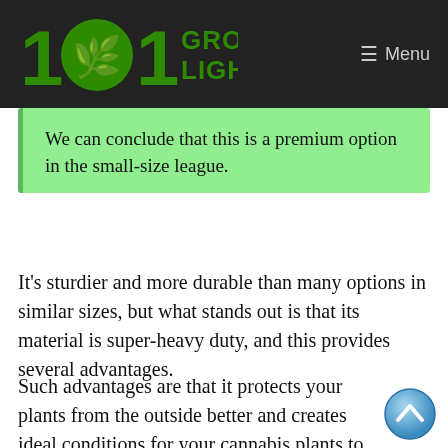101 Grow Lights — Menu
We can conclude that this is a premium option in the small-size league.
It's sturdier and more durable than many options in similar sizes, but what stands out is that its material is super-heavy duty, and this provides several advantages.
Such advantages are that it protects your plants from the outside better and creates ideal conditions for your cannabis plants to grow.